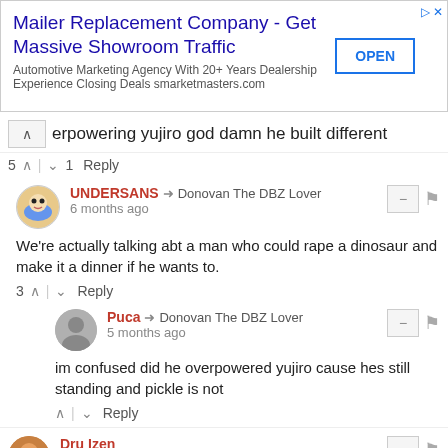[Figure (infographic): Advertisement banner: Mailer Replacement Company - Get Massive Showroom Traffic. Automotive Marketing Agency With 20+ Years Dealership Experience Closing Deals smarketmasters.com. OPEN button on right.]
erpowering yujiro god damn he built different
5 ^ | v 1 Reply
UNDERSANS → Donovan The DBZ Lover
6 months ago
We're actually talking abt a man who could rape a dinosaur and make it a dinner if he wants to.
3 ^ | v Reply
Puca → Donovan The DBZ Lover
5 months ago
im confused did he overpowered yujiro cause hes still standing and pickle is not
^ | v Reply
Dru Izen
8 months ago